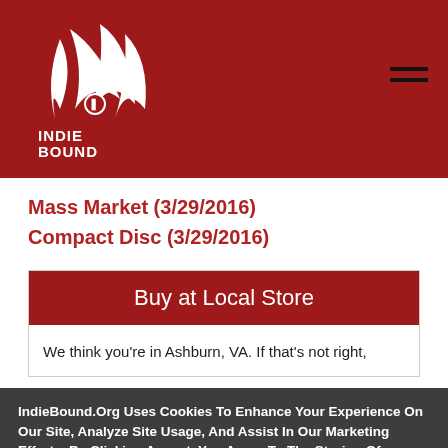IndieBound logo and navigation header
Mass Market (3/29/2016)
Compact Disc (3/29/2016)
Buy at Local Store
We think you're in Ashburn, VA. If that's not right,
IndieBound.Org Uses Cookies To Enhance Your Experience On Our Site, Analyze Site Usage, And Assist In Our Marketing Efforts. By Clicking Accept, You Agree To The Storing Of Cookies On Your Device. View Our Cookie Policy.
Give me more info